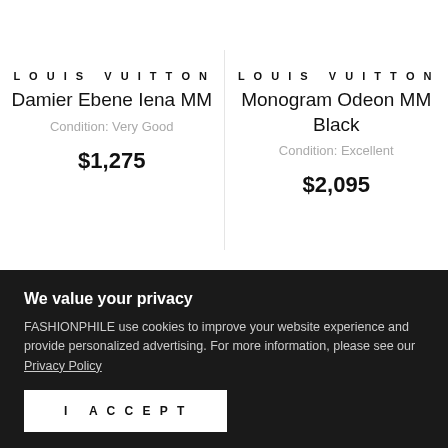[Figure (photo): Partial top view of two Louis Vuitton bags cropped at the top of the page — left: Damier Ebene pattern bag, right: Monogram dark bag]
LOUIS VUITTON
Damier Ebene Iena MM
Condition: Very Good
$1,275
LOUIS VUITTON
Monogram Odeon MM Black
Condition: Excellent
$2,095
We value your privacy
FASHIONPHILE use cookies to improve your website experience and provide personalized advertising. For more information, please see our Privacy Policy
I ACCEPT